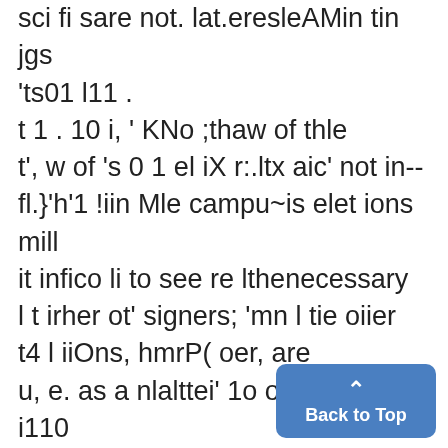sci fi sare not. lat.eresleAMin tin jgs 'ts01 l11 . t 1 . 10 i, ' KNo ;thaw of thle t', w of 's 0 1 el iX r:.ltx aic' not in-- fl.}'h'1 !iin Mle campu~is elet ions mill it infico li to see re lthenecessary l t irher ot' signers; 'mn l tie oiier t4 l iiOns, hmrP( oer, are u, e. as a nlalttei' 1o ourse and i110 iii n;ifyvthe Nill of flhe vote's.,' F';. witheliee, ;'2e. -_Too.0 many ii 7qjii'tit ins wil t v (N.i reading hut lm since this is the accepte
Back to Top